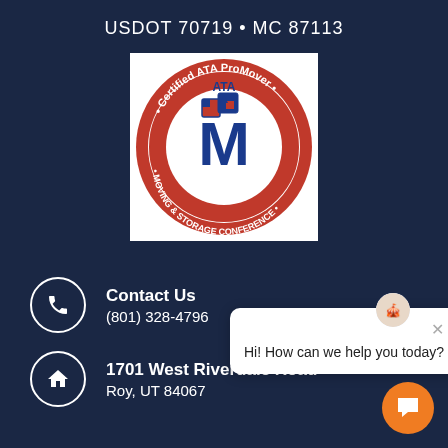USDOT 70719 • MC 87113
[Figure (logo): ATA Certified ProMover - Moving & Storage Conference circular logo with blue M and boxes]
Contact Us
(801) 328-4796
1701 West Riverdale Road
Roy, UT 84067
[Figure (screenshot): Chat popup overlay showing 'Hi! How can we help you today?' with orange chat button]